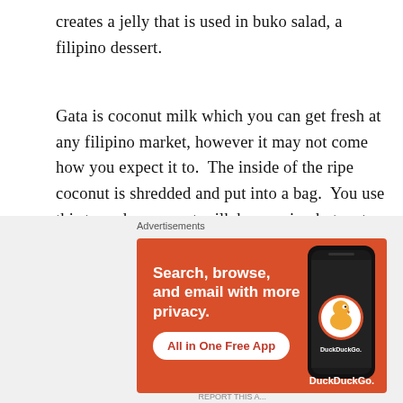creates a jelly that is used in buko salad, a filipino dessert.
Gata is coconut milk which you can get fresh at any filipino market, however it may not come how you expect it to.  The inside of the ripe coconut is shredded and put into a bag.  You use this to make coconut milk by pouring hot water over it and squeezing the pulp with your hands.  Then you drain the milk from the pulp, and viola you have gata!
Lambanog has been explained to me as coconut wine,
[Figure (screenshot): Advertisement banner for DuckDuckGo app. Orange/red background with white bold text 'Search, browse, and email with more privacy.' and a white pill-shaped button reading 'All in One Free App'. On the right side is a phone mockup displaying the DuckDuckGo logo (duck icon). Bottom right shows 'DuckDuckGo.' text.]